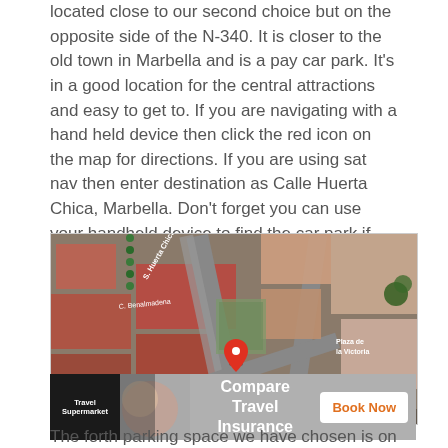located close to our second choice but on the opposite side of the N-340. It is closer to the old town in Marbella and is a pay car park. It's in a good location for the central attractions and easy to get to. If you are navigating with a hand held device then click the red icon on the map for directions. If you are using sat nav then enter destination as Calle Huerta Chica, Marbella. Don't forget you can use your handheld device to find the car park if have forgotten where it is when you have finished exploring Marbella.
[Figure (map): Google Maps satellite view showing Calle Huerta Chica, Marbella with a red location pin marker. Visible labels include C. Benalmadena, Plaza Juan de la Rosa, Plaza de la Victoria, PL de la Victoria, JUNED, and a Google watermark. Map data ©2022 Imagery ©2022 CNES / Airbus, Maxar Technologies.]
[Figure (screenshot): Travel Supermarket advertisement banner: Compare Travel Insurance with Book Now button in orange text.]
The forth parking space we have chosen is on the